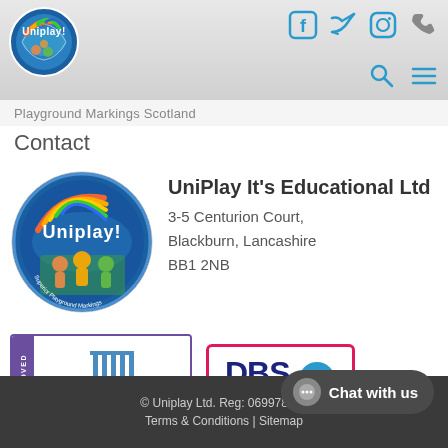[Figure (logo): Uniplay colorful globe logo in header]
[Figure (infographic): Social media icons: Facebook, Twitter, Instagram, Phone in teal/blue]
Playground Markings Scotland
Contact
[Figure (logo): Uniplay circular logo with 'Superior Playground Markings']
UniPlay It's Educational Ltd
3-5 Centurion Court,
Blackburn, Lancashire
BB1 2NB
[Figure (logo): Constructionline APPROVED badge - purple sidebar with column icon]
[Figure (logo): DBS Checked badge with blue text and pink checkmark]
© Uniplay Ltd. Reg: 06997899 | Terms & Conditions | Sitemap
Chat with us